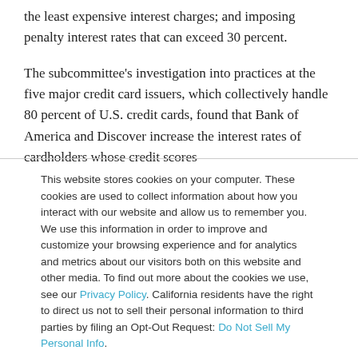the least expensive interest charges; and imposing penalty interest rates that can exceed 30 percent.
The subcommittee's investigation into practices at the five major credit card issuers, which collectively handle 80 percent of U.S. credit cards, found that Bank of America and Discover increase the interest rates of cardholders whose credit scores
This website stores cookies on your computer. These cookies are used to collect information about how you interact with our website and allow us to remember you. We use this information in order to improve and customize your browsing experience and for analytics and metrics about our visitors both on this website and other media. To find out more about the cookies we use, see our Privacy Policy. California residents have the right to direct us not to sell their personal information to third parties by filing an Opt-Out Request: Do Not Sell My Personal Info.
Accept